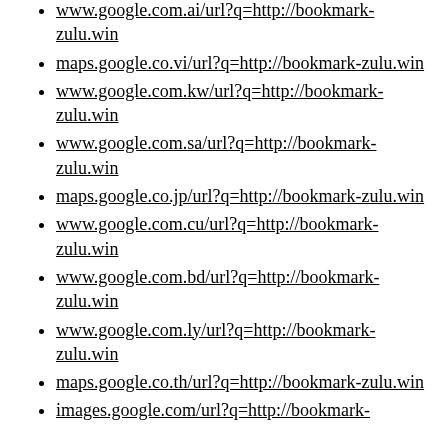www.google.com.ai/url?q=http://bookmark-zulu.win
maps.google.co.vi/url?q=http://bookmark-zulu.win
www.google.com.kw/url?q=http://bookmark-zulu.win
www.google.com.sa/url?q=http://bookmark-zulu.win
maps.google.co.jp/url?q=http://bookmark-zulu.win
www.google.com.cu/url?q=http://bookmark-zulu.win
www.google.com.bd/url?q=http://bookmark-zulu.win
www.google.com.ly/url?q=http://bookmark-zulu.win
maps.google.co.th/url?q=http://bookmark-zulu.win
images.google.com/url?q=http://bookmark-